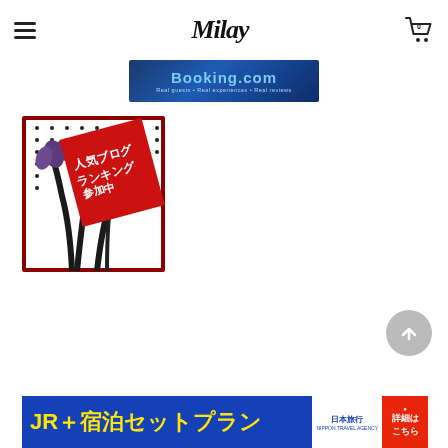Milav (logo with hamburger menu and cart icon)
[Figure (screenshot): Booking.com banner ad with blue background, showing 'Booking.com' text and 'Real guests • Real experiences • Real reviews' tagline]
[Figure (illustration): Japanese popular blog ranking badge (人気ブログランキング) showing iris flowers and a red diagonal banner with Japanese text]
[Figure (screenshot): JR + 宿泊セットプラン (JR + accommodation set plan) banner ad in yellow text on blue background with Nihon Travel logo and 詳細はこちら (details here) button]